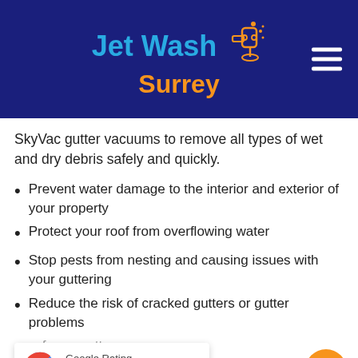[Figure (logo): Jet Wash Surrey logo with pressure washer icon on dark navy blue background, with hamburger menu icon on the right]
SkyVac gutter vacuums to remove all types of wet and dry debris safely and quickly.
Prevent water damage to the interior and exterior of your property
Protect your roof from overflowing water
Stop pests from nesting and causing issues with your guttering
Reduce the risk of cracked gutters or gutter problems
...f your gutters
Save time and money
[Figure (other): Google Rating widget showing 5.0 stars with Google G logo]
[Figure (other): Orange circular phone call button]